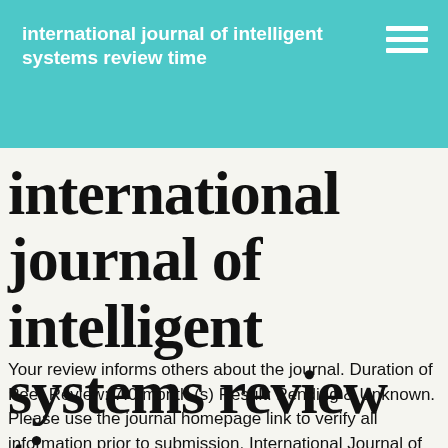international journal of intelligent systems review time
international journal of intelligent systems review time
Your review informs others about the journal. Duration of Peer Review: 7.0 month (s) Result: Pending & Unknown. Please use the journal homepage link to verify all information prior to submission. International Journal of Smart Engineering System Design (1997 - 2003) Browse the